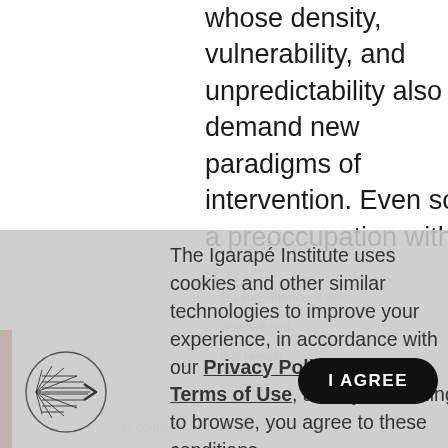whose density, vulnerability, and unpredictability also demand new paradigms of intervention. Even so, a preoccupation with
The Igarapé Institute uses cookies and other similar technologies to improve your experience, in accordance with our Privacy Policy and our Terms of Use, and by continuing to browse, you agree to these conditions.
[Figure (logo): Igarapé Institute logo — circular hatched leaf/arrow icon in black and white]